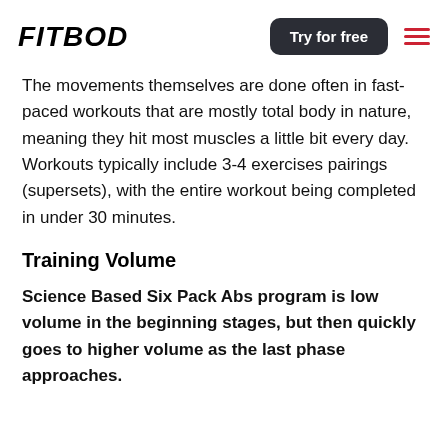FITBOD | Try for free
The movements themselves are done often in fast-paced workouts that are mostly total body in nature, meaning they hit most muscles a little bit every day. Workouts typically include 3-4 exercises pairings (supersets), with the entire workout being completed in under 30 minutes.
Training Volume
Science Based Six Pack Abs program is low volume in the beginning stages, but then quickly goes to higher volume as the last phase approaches.